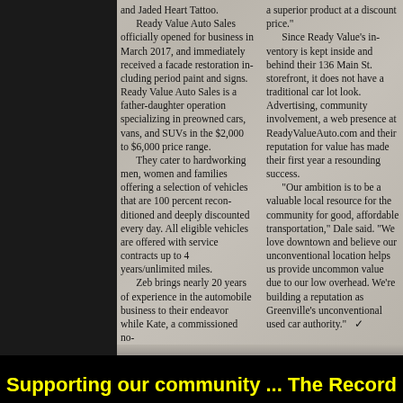[Figure (photo): Scanned newspaper article about Ready Value Auto Sales, showing two-column text layout on aged newsprint background.]
and Jaded Heart Tattoo. Ready Value Auto Sales officially opened for business in March 2017, and immediately received a facade restoration including period paint and signs. Ready Value Auto Sales is a father-daughter operation specializing in preowned cars, vans, and SUVs in the $2,000 to $6,000 price range. They cater to hard-working men, women and families offering a selection of vehicles that are 100 percent reconditioned and deeply discounted every day. All eligible vehicles are offered with service contracts up to 4 years/unlimited miles. Zeb brings nearly 20 years of experience in the automobile business to their endeavor while Kate, a commissioned no-
a superior product at a discount price." Since Ready Value's inventory is kept inside and behind their 136 Main St. storefront, it does not have a traditional car lot look. Advertising, community involvement, a web presence at ReadyValueAuto.com and their reputation for value has made their first year a resounding success. "Our ambition is to be a valuable local resource for the community for good, affordable transportation," Dale said. "We love downtown and believe our unconventional location helps us provide uncommon value due to our low overhead. We're building a reputation as Greenville's unconventional used car authority."
Supporting our community ... The Record